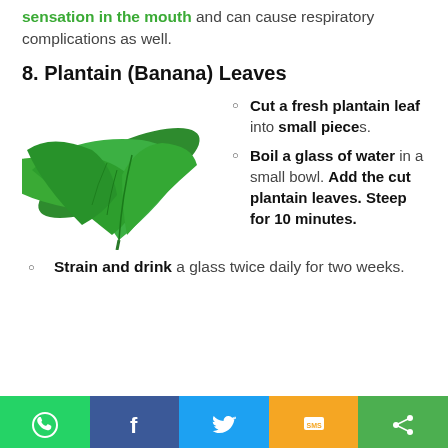sensation in the mouth and can cause respiratory complications as well.
8. Plantain (Banana) Leaves
[Figure (photo): Green plantain (banana) leaves on white background]
Cut a fresh plantain leaf into small pieces.
Boil a glass of water in a small bowl. Add the cut plantain leaves. Steep for 10 minutes.
Strain and drink a glass twice daily for two weeks.
Social sharing bar: WhatsApp, Facebook, Twitter, SMS, Share